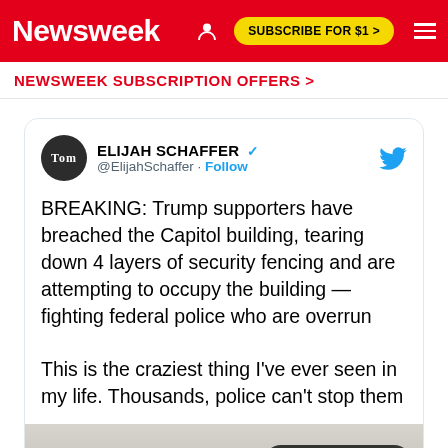Newsweek — SUBSCRIBE FOR $1 >
NEWSWEEK SUBSCRIPTION OFFERS >
[Figure (screenshot): Embedded tweet from @ElijahSchaffer (Elijah Schaffer, verified) with Twitter bird logo. Tweet text: 'BREAKING: Trump supporters have breached the Capitol building, tearing down 4 layers of security fencing and are attempting to occupy the building — fighting federal police who are overrun

This is the craziest thing I've ever seen in my life. Thousands, police can't stop them'. Below tweet text is a partial video thumbnail with a 'Watch on Twitter' button.]